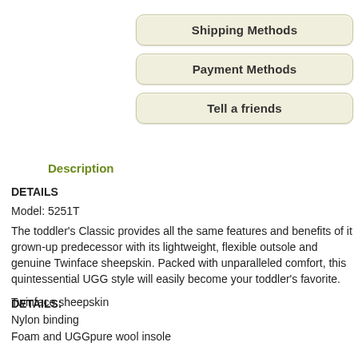[Figure (other): Button: Shipping Methods]
[Figure (other): Button: Payment Methods]
[Figure (other): Button: Tell a friends]
Description
DETAILS
Model: 5251T
The toddler's Classic provides all the same features and benefits of its grown-up predecessor with its lightweight, flexible outsole and genuine Twinface sheepskin. Packed with unparalleled comfort, this quintessential UGG style will easily become your toddler's favorite.
DETAILS:
Twinface sheepskin
Nylon binding
Foam and UGGpure wool insole